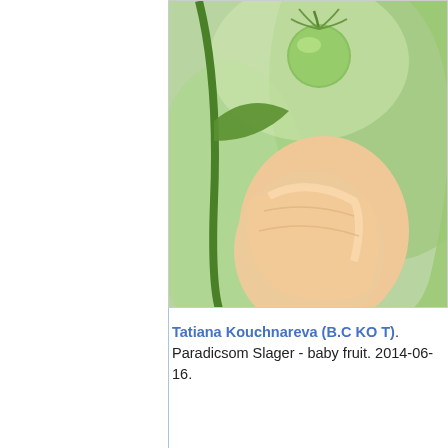[Figure (photo): Close-up photo of a small green tomato fruit being held by fingers, with green plant stems and leaves visible. Shallow depth of field with blurred green background.]
Tatiana Kouchnareva (B.C KO T). Paradicsom Slager - baby fruit. 2014-06-16.
[Figure (photo): Second photo placeholder - light gray/white rectangle, content not visible in this crop.]
Tatiana Kouchnareva (B.C KO T). Paradicsom